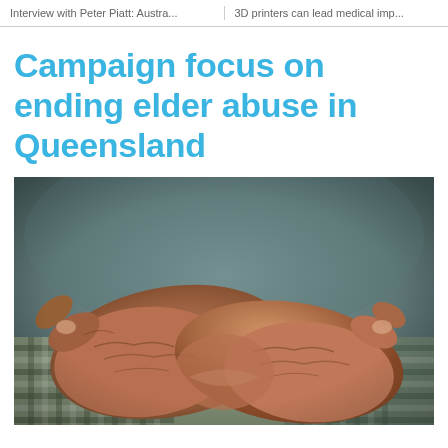Interview with Peter Piatt: Austra...  |  3D printers can lead medical imp...
Campaign focus on ending elder abuse in Queensland
[Figure (photo): Close-up photograph of an elderly person's wrinkled hands clasped together resting on a checked fabric garment, with a teal/grey background.]